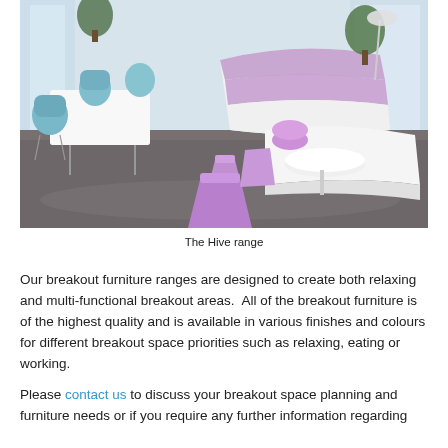[Figure (photo): Interior photo of a modern breakout space featuring the Hive range furniture: white curved sofas/partitions with lavender/purple accents, purple stools and poufs, light blue chairs around a white table, large windows with city views, plants, and a reflective floor.]
The Hive range
Our breakout furniture ranges are designed to create both relaxing and multi-functional breakout areas.  All of the breakout furniture is of the highest quality and is available in various finishes and colours for different breakout space priorities such as relaxing, eating or working.
Please contact us to discuss your breakout space planning and furniture needs or if you require any further information regarding